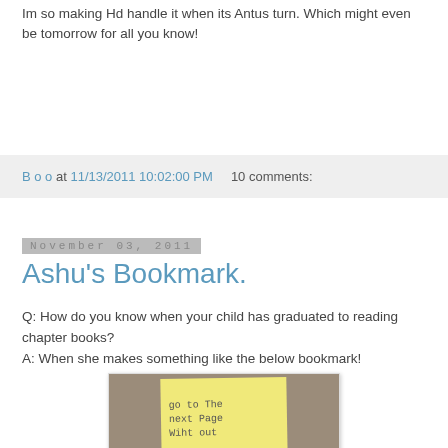Im so making Hd handle it when its Antus turn. Which might even be tomorrow for all you know!
B o o at 11/13/2011 10:02:00 PM    10 comments:
November 03, 2011
Ashu's Bookmark.
Q: How do you know when your child has graduated to reading chapter books?
A: When she makes something like the below bookmark!
[Figure (photo): A handwritten sticky note on yellow paper reading 'go to the next Page Wiht out' placed against a brown/tan background, shown inside a white-bordered photo frame]